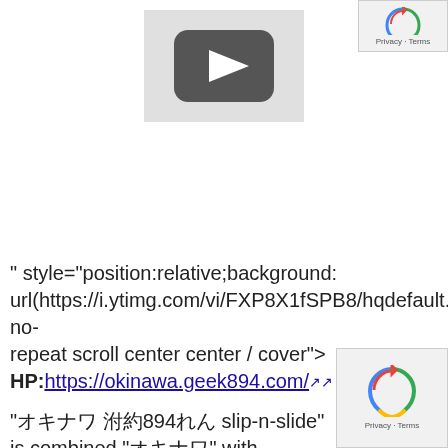[Figure (screenshot): YouTube video player thumbnail with dark rounded rectangle and white play button triangle in center]
[Figure (logo): Google reCAPTCHA logo top right with Privacy and Terms text]
" style="position:relative;background: url(https://i.ytimg.com/vi/FXP8X1fSPB8/hqdefault.jpg) no-repeat scroll center center / cover">
HP:https://okinawa.geek894.com/
"オキナワ 沖縄894れん slip-n-slide" is combined "オキナワ" with
[Figure (logo): Google reCAPTCHA logo bottom right with Privacy and Terms text]